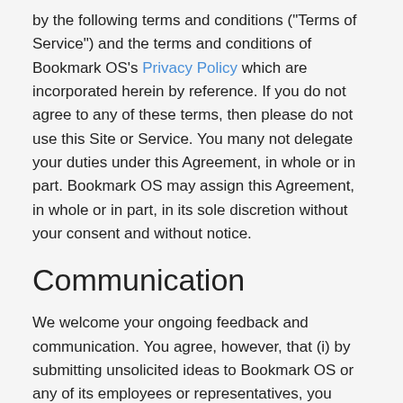by the following terms and conditions ("Terms of Service") and the terms and conditions of Bookmark OS's Privacy Policy which are incorporated herein by reference. If you do not agree to any of these terms, then please do not use this Site or Service. You many not delegate your duties under this Agreement, in whole or in part. Bookmark OS may assign this Agreement, in whole or in part, in its sole discretion without your consent and without notice.
Communication
We welcome your ongoing feedback and communication. You agree, however, that (i) by submitting unsolicited ideas to Bookmark OS or any of its employees or representatives, you automatically forfeit your right to any intellectual property rights in these ideas; and (ii) unsolicited ideas submitted to Bookmark OS or any the Services or any of Bookmark OS's employees or representatives automatically become the property of Bookmark OS.
You hereby assign and agree to assign all rights, title and interest you have in such feedback and ideas to Bookmark OS together with all intellectual property rights therein.